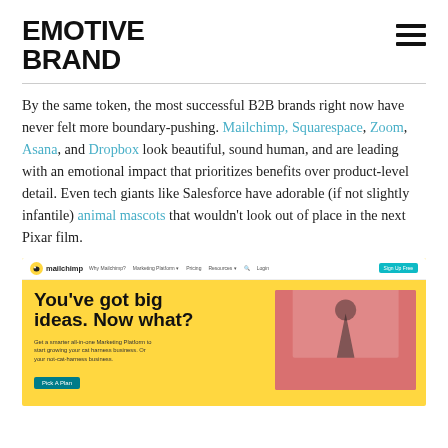EMOTIVE BRAND
By the same token, the most successful B2B brands right now have never felt more boundary-pushing. Mailchimp, Squarespace, Zoom, Asana, and Dropbox look beautiful, sound human, and are leading with an emotional impact that prioritizes benefits over product-level detail. Even tech giants like Salesforce have adorable (if not slightly infantile) animal mascots that wouldn't look out of place in the next Pixar film.
[Figure (screenshot): Screenshot of Mailchimp website homepage with yellow background showing 'You've got big ideas. Now what?' headline with navigation bar at top and a decorative hero image on the right side.]